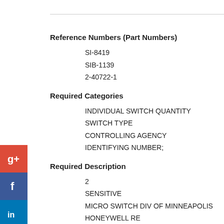Reference Numbers (Part Numbers)
SI-8419
SIB-1139
2-40722-1
Required Categories
INDIVIDUAL SWITCH QUANTITY
SWITCH TYPE
CONTROLLING AGENCY
IDENTIFYING NUMBER;
Required Description
2
SENSITIVE
MICRO SWITCH DIV OF MINNEAPOLIS HONEYWELL RE
PART NO. 1